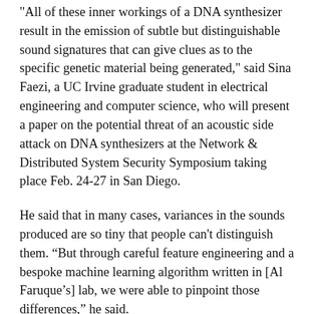"All of these inner workings of a DNA synthesizer result in the emission of subtle but distinguishable sound signatures that can give clues as to the specific genetic material being generated," said Sina Faezi, a UC Irvine graduate student in electrical engineering and computer science, who will present a paper on the potential threat of an acoustic side attack on DNA synthesizers at the Network & Distributed System Security Symposium taking place Feb. 24-27 in San Diego.
He said that in many cases, variances in the sounds produced are so tiny that people can't distinguish them. “But through careful feature engineering and a bespoke machine learning algorithm written in [Al Faruque’s] lab, we were able to pinpoint those differences,” he said.
Another factor that enables DNA synthesis information to be stolen is the design of the synthesizers themselves, according to Faezi. “Solenoid valves are placed asymmetrically inside the housing, so when a valve is working in one corner of the box, it makes a completely difference noise than one that’s working in the middle,” he said.